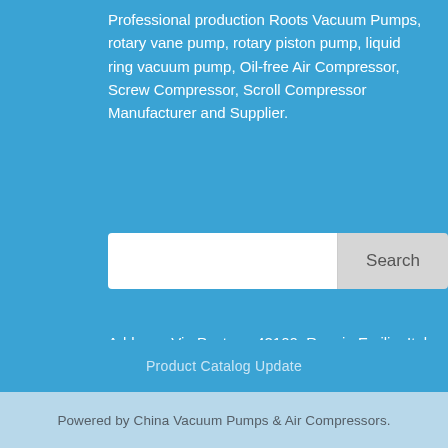Professional production Roots Vacuum Pumps, rotary vane pump, rotary piston pump, liquid ring vacuum pump, Oil-free Air Compressor, Screw Compressor, Scroll Compressor Manufacturer and Supplier.
[Figure (other): Search bar with text input field on left and 'Search' button on right, white and light grey on blue background]
Address: Via Pasteur, 42100, Reggio Emilia, Italy
Tel: 0039-320-461391
Product Catalog Update
Powered by China Vacuum Pumps & Air Compressors.